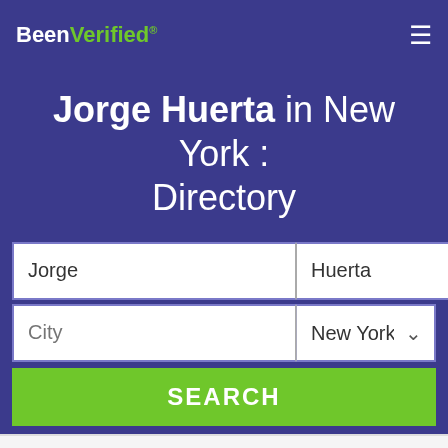BeenVerified.com
Jorge Huerta in New York : Directory
Jorge | Huerta | City | New York | SEARCH
Court Records
Get report >